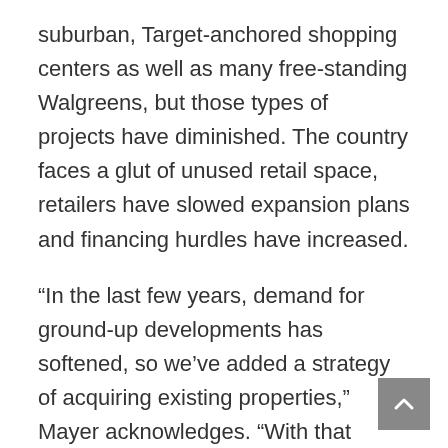suburban, Target-anchored shopping centers as well as many free-standing Walgreens, but those types of projects have diminished. The country faces a glut of unused retail space, retailers have slowed expansion plans and financing hurdles have increased.
“In the last few years, demand for ground-up developments has softened, so we’ve added a strategy of acquiring existing properties,” Mayer acknowledges. “With that being said, we’re about to hopefully break ground on a new development at the corner of Carrollton Avenue and Bienville in Mid-City.”
Mayer reports he’s seen a lot of interest in this former Ace Hardware site and that if the planned development were twice as large, Stirling would have